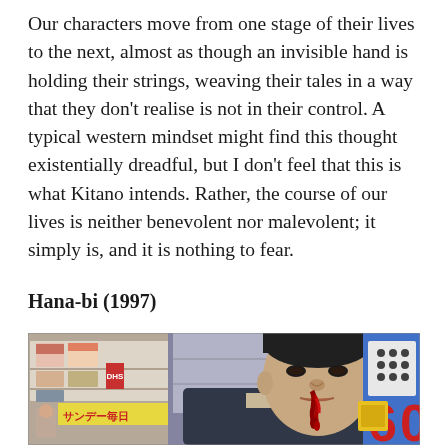Our characters move from one stage of their lives to the next, almost as though an invisible hand is holding their strings, weaving their tales in a way that they don't realise is not in their control. A typical western mindset might find this thought existentially dreadful, but I don't feel that this is what Kitano intends. Rather, the course of our lives is neither benevolent nor malevolent; it simply is, and it is nothing to fear.
Hana-bi (1997)
[Figure (photo): Film still from Hana-bi (1997) showing a man with blood on his face standing in what appears to be a Japanese convenience store or newsstand, with Japanese magazines and signage visible in the background, and a blue wall with red number 60 visible on the right.]